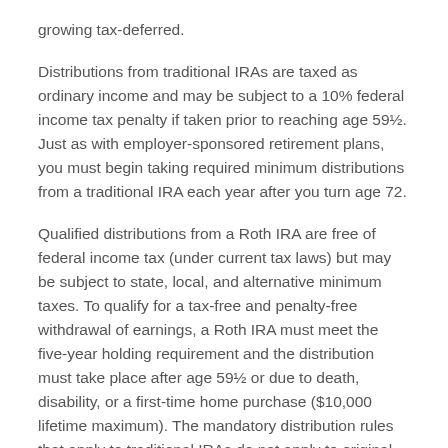growing tax-deferred.
Distributions from traditional IRAs are taxed as ordinary income and may be subject to a 10% federal income tax penalty if taken prior to reaching age 59½. Just as with employer-sponsored retirement plans, you must begin taking required minimum distributions from a traditional IRA each year after you turn age 72.
Qualified distributions from a Roth IRA are free of federal income tax (under current tax laws) but may be subject to state, local, and alternative minimum taxes. To qualify for a tax-free and penalty-free withdrawal of earnings, a Roth IRA must meet the five-year holding requirement and the distribution must take place after age 59½ or due to death, disability, or a first-time home purchase ($10,000 lifetime maximum). The mandatory distribution rules that apply to traditional IRAs do not apply to original Roth IRA owners; however, Roth IRA beneficiaries